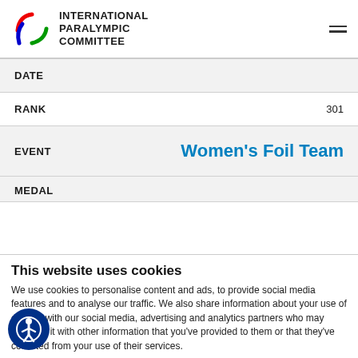INTERNATIONAL PARALYMPIC COMMITTEE
| Field | Value |
| --- | --- |
| DATE |  |
| RANK | 301 |
| EVENT | Women's Foil Team |
| MEDAL |  |
This website uses cookies
We use cookies to personalise content and ads, to provide social media features and to analyse our traffic. We also share information about your use of our site with our social media, advertising and analytics partners who may combine it with other information that you've provided to them or that they've collected from your use of their services.
Use necessary c   Allow selection   Allow all cookies
Necessary   Preferences   Statistics   Show details